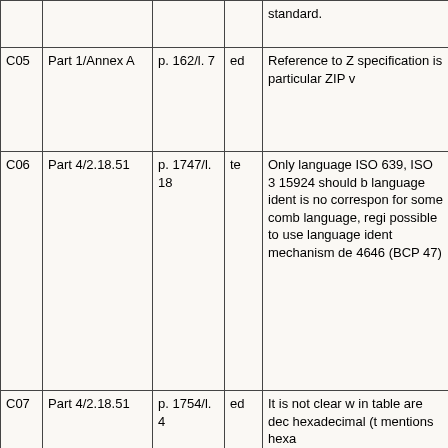| ID | Location | Page/Line | Type | Comment |
| --- | --- | --- | --- | --- |
|  |  |  |  | standard. |
| C05 | Part 1/Annex A | p. 162/l. 7 | ed | Reference to Z specification is particular ZIP v |
| C06 | Part 4/2.18.51 | p. 1747/l. 18 | te | Only language ISO 639, ISO 3 15924 should b language ident is no correspon for some comb language, regi possible to use language ident mechanism de 4646 (BCP 47) |
| C07 | Part 4/2.18.51 | p. 1754/l. 4 | ed | It is not clear w in table are dec hexadecimal (t mentions hexa |